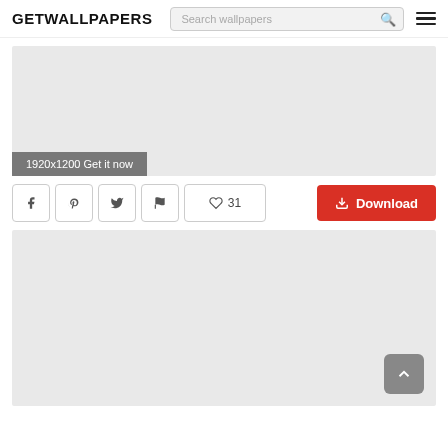GETWALLPAPERS
[Figure (screenshot): Search bar with placeholder text 'Search wallpapers' and a magnifying glass icon]
[Figure (photo): Large wallpaper preview image area in light gray with overlay label '1920x1200 Get it now']
[Figure (infographic): Action bar with Facebook, Pinterest, Twitter, Flag icon buttons, a heart/like count '31', and a red Download button]
[Figure (photo): Second large wallpaper preview image area in light gray with a back-to-top arrow button in the bottom right]